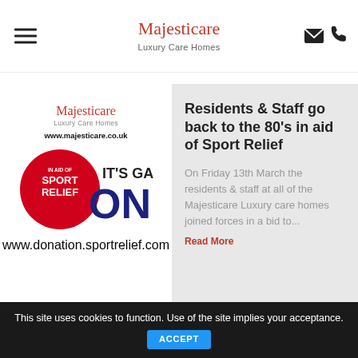Majesticare — Luxury Care Homes
[Figure (logo): Majesticare Luxury Care Homes logo with www.majesticare.co.uk URL and Sport Relief 'It's Game On' badge with www.donation.sportrelief.com URL]
Residents & Staff go back to the 80's in aid of Sport Relief
On Friday 13th March the residents & staff at all of the Majesticare Luxury care homes joined forces in a bid to...
Read More
This site uses cookies to function. Use of the site implies your acceptance. ACCEPT